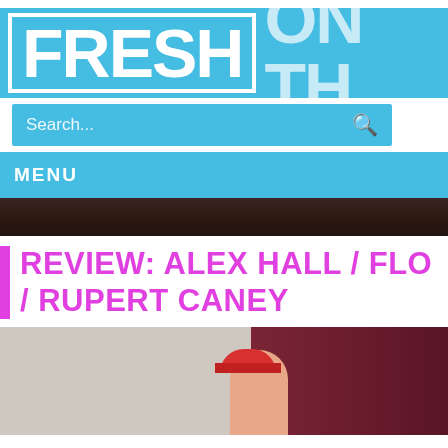[Figure (screenshot): Website header logo with 'FRESH ON TH' text, blue background]
[Figure (screenshot): Search bar with light blue background and search icon]
[Figure (screenshot): Menu navigation bar with blue background]
[Figure (photo): Dark photo strip of a person]
REVIEW: ALEX HALL / FLO / RUPERT CANEY
[Figure (photo): Bottom photo showing person with pink cap against beige and dark red background]